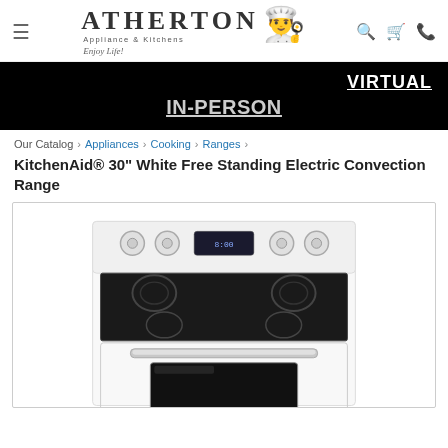Atherton Appliance & Kitchens – Enjoy Life!
VIRTUAL  IN-PERSON
Our Catalog › Appliances › Cooking › Ranges ›
KitchenAid® 30" White Free Standing Electric Convection Range
[Figure (photo): KitchenAid 30-inch white free-standing electric convection range with black glass cooktop showing four burners, white body, stainless handle on oven door, and oven window.]